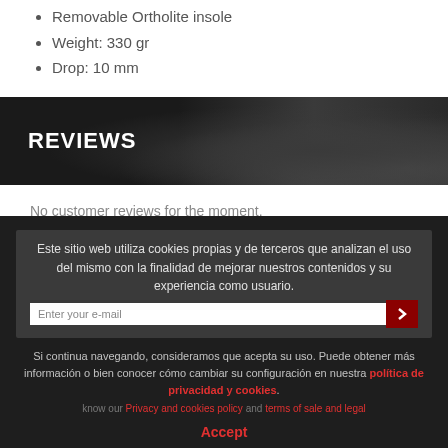Removable Ortholite insole
Weight: 330 gr
Drop: 10 mm
REVIEWS
No customer reviews for the moment.
Este sitio web utiliza cookies propias y de terceros que analizan el uso del mismo con la finalidad de mejorar nuestros contenidos y su experiencia como usuario.
Si continua navegando, consideramos que acepta su uso. Puede obtener más información o bien conocer cómo cambiar su configuración en nuestra política de privacidad y cookies.
know our Privacy and cookies policy and terms of sale and legal
Accept